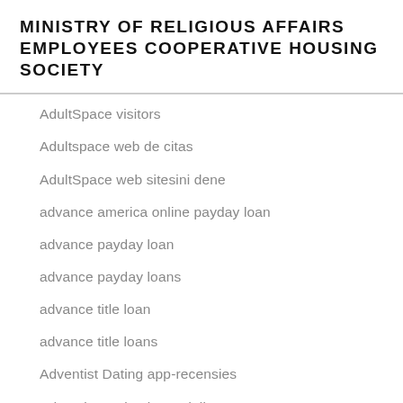MINISTRY OF RELIGIOUS AFFAIRS EMPLOYEES COOPERATIVE HOUSING SOCIETY
AdultSpace visitors
Adultspace web de citas
AdultSpace web sitesini dene
advance america online payday loan
advance payday loan
advance payday loans
advance title loan
advance title loans
Adventist Dating app-recensies
Adventist Dating beoordelingen